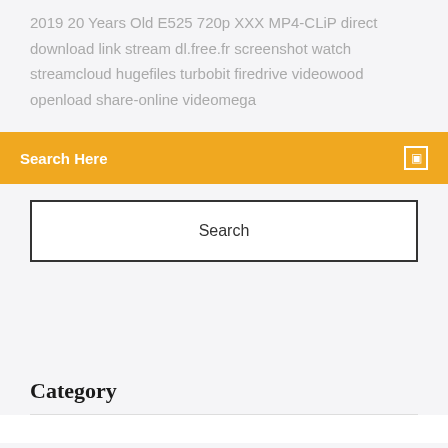2019 20 Years Old E525 720p XXX MP4-CLiP direct download link stream dl.free.fr screenshot watch streamcloud hugefiles turbobit firedrive videowood openload share-online videomega
Search Here
Search
Category